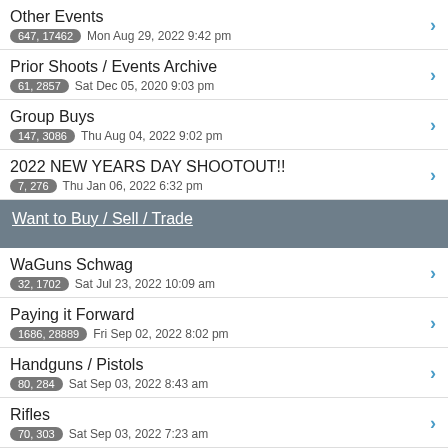Other Events | 647, 17462 | Mon Aug 29, 2022 9:42 pm
Prior Shoots / Events Archive | 61, 2857 | Sat Dec 05, 2020 9:03 pm
Group Buys | 147, 3086 | Thu Aug 04, 2022 9:02 pm
2022 NEW YEARS DAY SHOOTOUT!! | 7, 276 | Thu Jan 06, 2022 6:32 pm
Want to Buy / Sell / Trade
WaGuns Schwag | 32, 1702 | Sat Jul 23, 2022 10:09 am
Paying it Forward | 1686, 28889 | Fri Sep 02, 2022 8:02 pm
Handguns / Pistols | 80, 284 | Sat Sep 03, 2022 8:43 am
Rifles | 70, 303 | Sat Sep 03, 2022 7:23 am
Shotguns